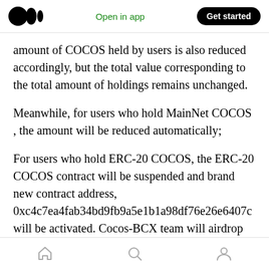Medium logo | Open in app | Get started
amount of COCOS held by users is also reduced accordingly, but the total value corresponding to the total amount of holdings remains unchanged.
Meanwhile, for users who hold MainNet COCOS , the amount will be reduced automatically;
For users who hold ERC-20 COCOS, the ERC-20 COCOS contract will be suspended and brand new contract address, 0xc4c7ea4fab34bd9fb9a5e1b1a98df76e26e6407c will be activated. Cocos-BCX team will airdrop newly generated COCOS to users' original ERC-
Home | Search | Profile